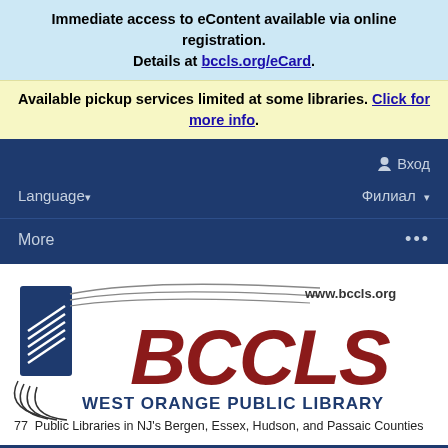Immediate access to eContent available via online registration. Details at bccls.org/eCard.
Available pickup services limited at some libraries. Click for more info.
Вход
Language▾    Филиал ▾
More   ...
[Figure (logo): BCCLS logo with stylized open book graphic in navy blue, cursive BCCLS text in dark red/maroon, www.bccls.org URL, WEST ORANGE PUBLIC LIBRARY subtitle, and tagline: 77 Public Libraries in NJ's Bergen, Essex, Hudson, and Passaic Counties]